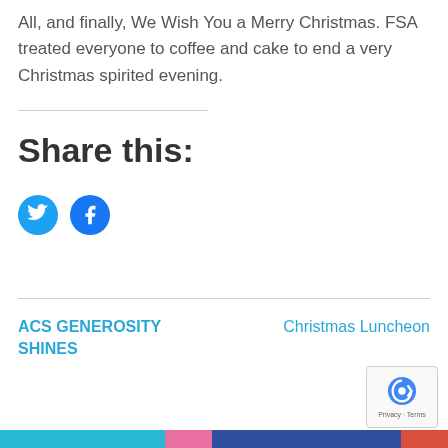All, and finally, We Wish You a Merry Christmas. FSA treated everyone to coffee and cake to end a very Christmas spirited evening.
Share this:
[Figure (illustration): Twitter and Facebook share buttons as blue circular icons with white bird and 'f' logos respectively]
ACS GENEROSITY SHINES
Christmas Luncheon